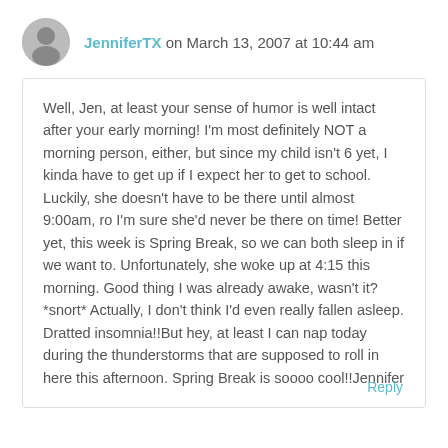JenniferTX on March 13, 2007 at 10:44 am
Well, Jen, at least your sense of humor is well intact after your early morning! I'm most definitely NOT a morning person, either, but since my child isn't 6 yet, I kinda have to get up if I expect her to get to school. Luckily, she doesn't have to be there until almost 9:00am, ro I'm sure she'd never be there on time! Better yet, this week is Spring Break, so we can both sleep in if we want to. Unfortunately, she woke up at 4:15 this morning. Good thing I was already awake, wasn't it? *snort* Actually, I don't think I'd even really fallen asleep. Dratted insomnia!!But hey, at least I can nap today during the thunderstorms that are supposed to roll in here this afternoon. Spring Break is soooo cool!!Jennifer